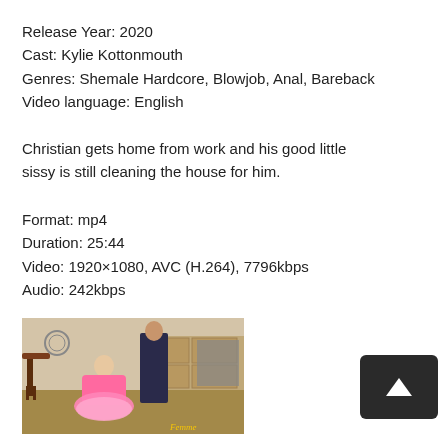Release Year: 2020
Cast: Kylie Kottonmouth
Genres: Shemale Hardcore, Blowjob, Anal, Bareback
Video language: English
Christian gets home from work and his good little sissy is still cleaning the house for him.
Format: mp4
Duration: 25:44
Video: 1920×1080, AVC (H.264), 7796kbps
Audio: 242kbps
[Figure (photo): Screenshot from video showing a person in a pink tutu kneeling in front of a standing person in a kitchen/dining room setting. A watermark 'Femme' is visible in the lower right of the image.]